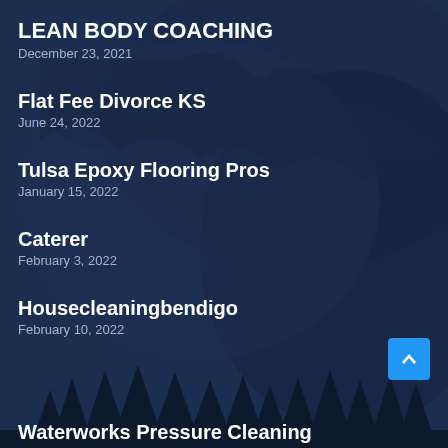LEAN BODY COACHING
December 23, 2021
Flat Fee Divorce KS
June 24, 2022
Tulsa Epoxy Flooring Pros
January 15, 2022
Caterer
February 3, 2022
Housecleaningbendigo
February 10, 2022
Waterworks Pressure Cleaning